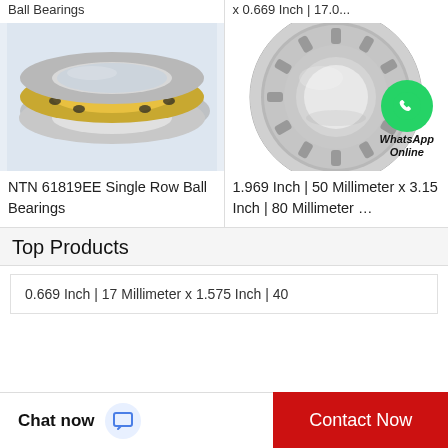Ball Bearings
x 0.669 Inch | 17.0...
[Figure (photo): Thrust ball bearing - flat disc-shaped bearing with brass cage, two silver disc races and one grooved race with holes, shown at slight angle on light blue-grey background]
[Figure (photo): Single row ball bearing - cylindrical roller bearing ring with tapered roller elements visible, silver metallic finish, shown from slight angle on white background. WhatsApp Online button overlay in bottom right.]
NTN 61819EE Single Row Ball Bearings
1.969 Inch | 50 Millimeter x 3.15 Inch | 80 Millimeter …
Top Products
0.669 Inch | 17 Millimeter x 1.575 Inch | 40
Chat now
Contact Now